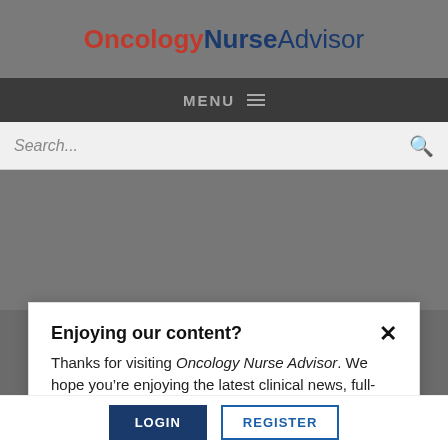OncologyNurseAdvisor
MENU
Search...
Enjoying our content?
Thanks for visiting Oncology Nurse Advisor. We hope you’re enjoying the latest clinical news, full-
NEXT POST IN GENERAL ONCOLOGY
[Figure (photo): Photo of a female nurse in pink scrubs writing at a desk]
Proportion of Women in Oncology Leadership Positions Remains Low
LOGIN   REGISTER